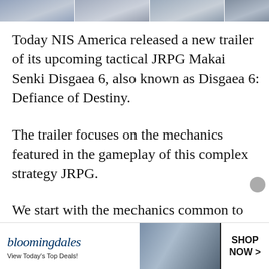[Figure (screenshot): Row of four thumbnail images at the top of the page, partially cropped, showing game or article preview images with dark overlays.]
Today NIS America released a new trailer of its upcoming tactical JRPG Makai Senki Disgaea 6, also known as Disgaea 6: Defiance of Destiny.
The trailer focuses on the mechanics featured in the gameplay of this complex strategy JRPG.
We start with the mechanics common to the rest of the series, and then we take a look at the
[Figure (screenshot): Bloomingdale's advertisement banner reading 'bloomingdales View Today's Top Deals!' with a photo of a woman in a wide-brimmed hat and a 'SHOP NOW >' button on the right.]